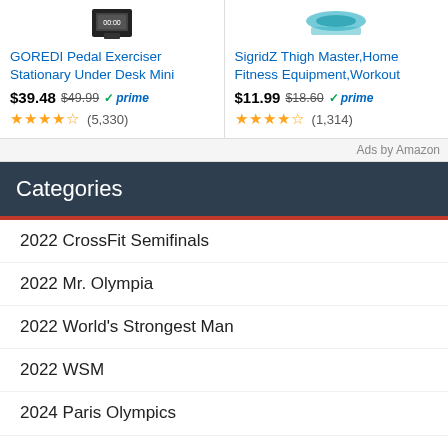[Figure (other): Ad card for GOREDI Pedal Exerciser product with price $39.48, original $49.99, Prime badge, 4 stars, 5,330 reviews]
[Figure (other): Ad card for SigridZ Thigh Master product with price $11.99, original $18.60, Prime badge, 4 stars, 1,314 reviews]
Ads by Amazon
Categories
2022 CrossFit Semifinals
2022 Mr. Olympia
2022 World's Strongest Man
2022 WSM
2024 Paris Olympics
ab workout